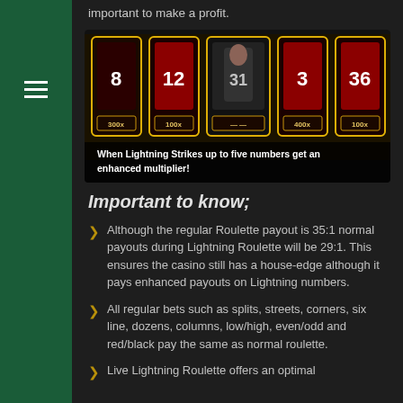important to make a profit.
[Figure (photo): Lightning Roulette screenshot showing five cards with numbers 8, 12, 31, 3, 36 and multipliers 300x, 100x, 400x, 100x with a caption: When Lightning Strikes up to five numbers get an enhanced multiplier!]
Important to know;
Although the regular Roulette payout is 35:1 normal payouts during Lightning Roulette will be 29:1. This ensures the casino still has a house-edge although it pays enhanced payouts on Lightning numbers.
All regular bets such as splits, streets, corners, six line, dozens, columns, low/high, even/odd and red/black pay the same as normal roulette.
Live Lightning Roulette offers an optimal